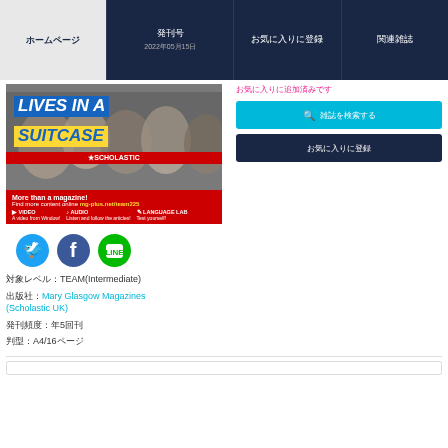ホームページ | 発刊号 2022年05月15日 | お気に入りに登録 | 関連雑誌
[Figure (photo): Magazine cover 'Lives in a Suitcase' - Scholastic TEAM magazine, showing people group photo with blue and yellow title text, red bottom bar with mg-plus.net/team225 link]
[Figure (other): Social media icons: Twitter (blue bird), Facebook (blue f), LINE (green)]
対象レベル：TEAM(Intermediate)
出版社：Mary Glasgow Magazines (Scholastic UK)
発刊頻度：年5回刊
判型：A4/16ページ
お気に入りに登録
雑誌を検索する